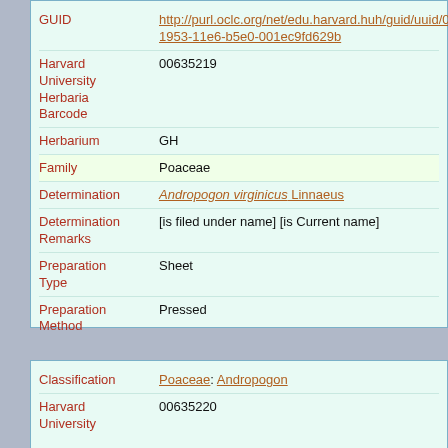| Field | Value |
| --- | --- |
| GUID | http://purl.oclc.org/net/edu.harvard.huh/guid/uuid/050...1953-11e6-b5e0-001ec9fd629b |
| Harvard University Herbaria Barcode | 00635219 |
| Herbarium | GH |
| Family | Poaceae |
| Determination | Andropogon virginicus Linnaeus |
| Determination Remarks | [is filed under name] [is Current name] |
| Preparation Type | Sheet |
| Preparation Method | Pressed |
| Field | Value |
| --- | --- |
| Classification | Poaceae: Andropogon |
| Harvard University Herbaria Barcode | 00635220 |